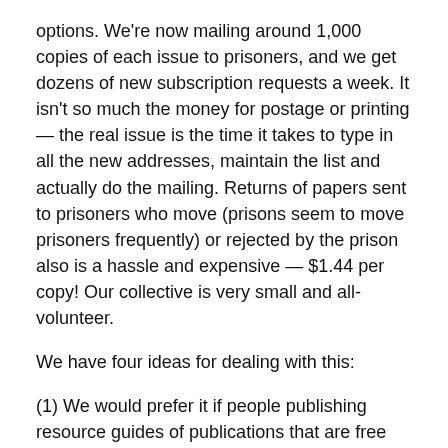options. We're now mailing around 1,000 copies of each issue to prisoners, and we get dozens of new subscription requests a week. It isn't so much the money for postage or printing — the real issue is the time it takes to type in all the new addresses, maintain the list and actually do the mailing. Returns of papers sent to prisoners who move (prisons seem to move prisoners frequently) or rejected by the prison also is a hassle and expensive — $1.44 per copy! Our collective is very small and all-volunteer.
We have four ideas for dealing with this:
(1) We would prefer it if people publishing resource guides of publications that are free for prisoners stop listing us — we're overloaded just with the current word of mouth.